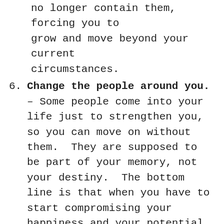no longer contain them, forcing you to grow and move beyond your current circumstances.
Change the people around you. – Some people come into your life just to strengthen you, so you can move on without them.  They are supposed to be part of your memory, not your destiny.  The bottom line is that when you have to start compromising your happiness and your potential for the people around you, it's time to change the people around you.  It's time to join local meet-ups, attend conferences, network online, and find a more supportive tribe.
Take a chance. – When life sets you up with a challenge, there's a reason for it: